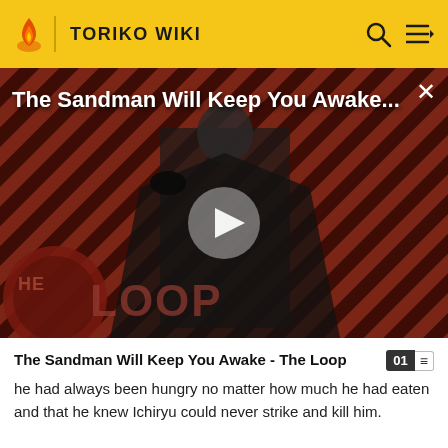TORIKO WIKI
[Figure (screenshot): Video thumbnail for 'The Sandman Will Keep You Awake... - The Loop' showing a dark-clad figure against a red and black diagonal striped background, with a large play button in the center and 'THE LOOP' text at the bottom left. A close (×) button is in the top right corner.]
The Sandman Will Keep You Awake - The Loop
he had always been hungry no matter how much he had eaten and that he knew Ichiryu could never strike and kill him.